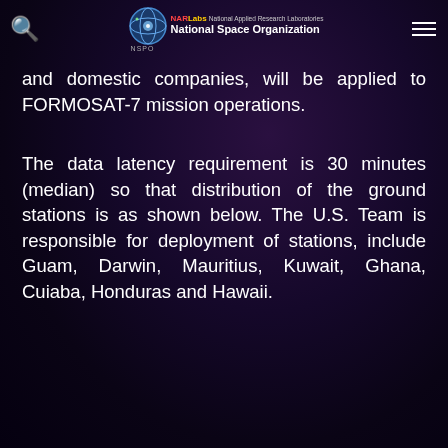NARLabs National Applied Research Laboratories National Space Organization NSPO
and domestic companies, will be applied to FORMOSAT-7 mission operations.
The data latency requirement is 30 minutes (median) so that distribution of the ground stations is as shown below. The U.S. Team is responsible for deployment of stations, include Guam, Darwin, Mauritius, Kuwait, Ghana, Cuiaba, Honduras and Hawaii.